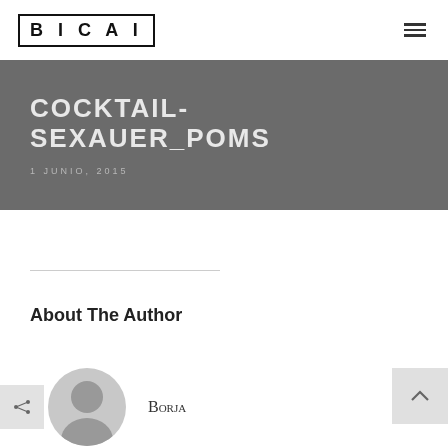BICAI
COCKTAIL-SEXAUER_POMS
1 JUNIO, 2015
About The Author
Borja